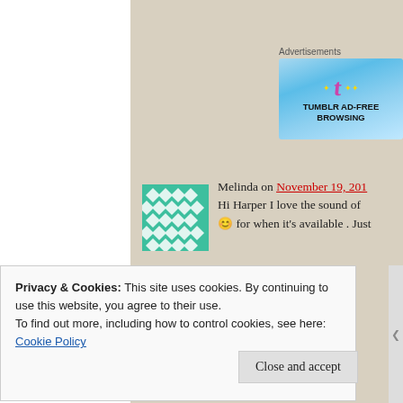[Figure (illustration): Tumblr Ad-Free Browsing advertisement banner with blue gradient background, 't' logo in pink, and gold sparkles]
Advertisements
Melinda on November 19, 201
Hi Harper I love the sound of
😊 for when it's available . Just
anymore CEP books? I loved that series, o
series. Thanks Melinda x
★ Like
Privacy & Cookies: This site uses cookies. By continuing to use this website, you agree to their use.
To find out more, including how to control cookies, see here:
Cookie Policy
Close and accept